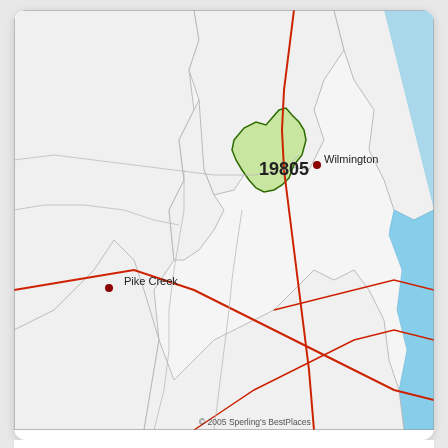[Figure (map): Map showing ZIP code 19805 area near Wilmington, Delaware. The highlighted region (green) is labeled 19805. Wilmington is marked with a red dot to the upper right of the highlighted area. Pike Creek is labeled to the lower left with a red dot. A blue river (Delaware River) runs along the right side. Red lines indicate roads/highways. Copyright 2005 Sperling's BestPlaces shown in lower right.]
Best Place to Live in Wilmington (zip 19805), Delaware
[Figure (map): Scale bar showing Miles 0, 7, 14. Bottom portion of a second map visible, showing roads and terrain near Wilmington area.]